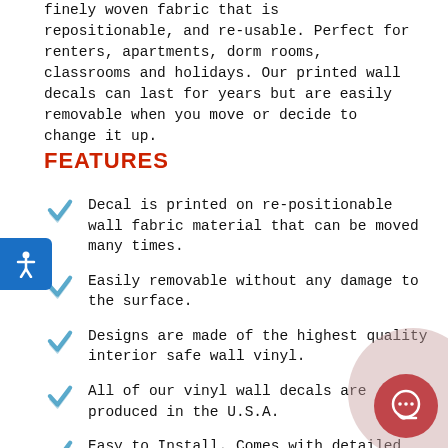finely woven fabric that is repositionable, and re-usable. Perfect for renters, apartments, dorm rooms, classrooms and holidays. Our printed wall decals can last for years but are easily removable when you move or decide to change it up.
FEATURES
Decal is printed on re-positionable wall fabric material that can be moved many times.
Easily removable without any damage to the surface.
Designs are made of the highest quality interior safe wall vinyl.
All of our vinyl wall decals are produced in the U.S.A.
Easy to Install. Comes with detailed instructions, a free squeege and test deca...